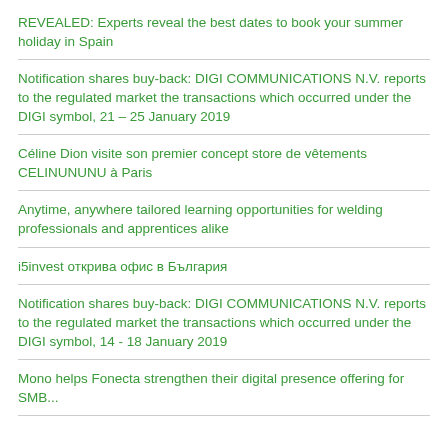REVEALED: Experts reveal the best dates to book your summer holiday in Spain
Notification shares buy-back: DIGI COMMUNICATIONS N.V. reports to the regulated market the transactions which occurred under the DIGI symbol, 21 – 25 January 2019
Céline Dion visite son premier concept store de vêtements CELINUNUNU à Paris
Anytime, anywhere tailored learning opportunities for welding professionals and apprentices alike
i5invest открива офис в България
Notification shares buy-back: DIGI COMMUNICATIONS N.V. reports to the regulated market the transactions which occurred under the DIGI symbol, 14 - 18 January 2019
Mono helps Fonecta strengthen their digital presence offering for SMB...